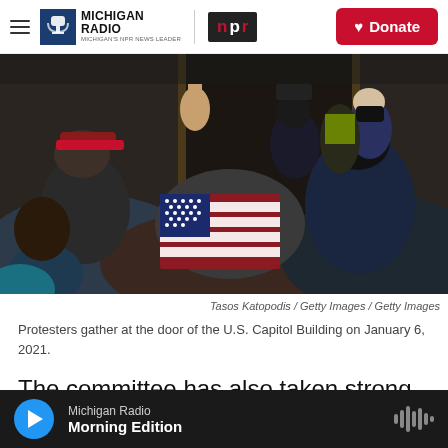Michigan Radio | NPR | Donate
[Figure (photo): Crowd of protesters pushing at the door of the U.S. Capitol Building on January 6, 2021. Visible are people wearing Trump merchandise, American flag, dark hoodies, and law enforcement officers.]
Tasos Katopodis / Getty Images / Getty Images
Protesters gather at the door of the U.S. Capitol Building on January 6, 2021.
The committee has also taken strong interest in the extreme right-wing groups that breached
Michigan Radio — Morning Edition